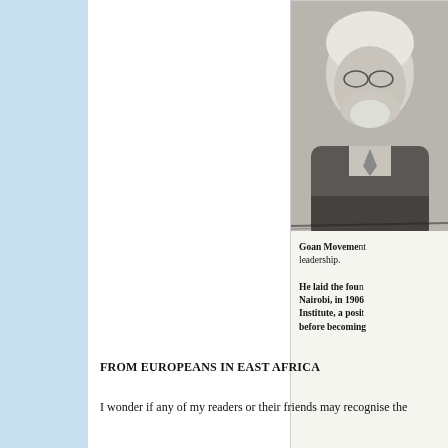[Figure (photo): Black and white portrait photograph of a man, partially cropped, showing head and upper torso. The man appears elderly with white hair and a beard, wearing a dark suit.]
Goan Movement leadership.

He laid the fou Nairobi, in 1906 Institute, a posi before becoming
FROM EUROPEANS IN EAST AFRICA
I wonder if any of my readers or their friends may recognise the